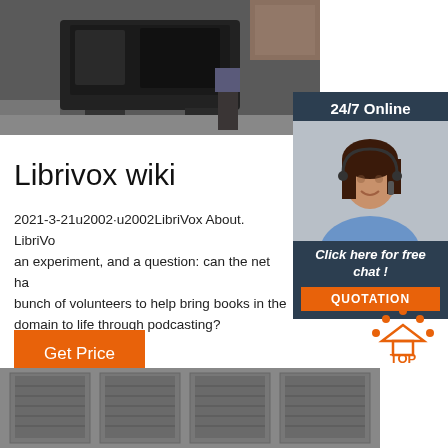[Figure (photo): A large industrial generator or engine on a work site, viewed from the side, with a person standing near it.]
[Figure (photo): 24/7 Online support widget showing a smiling woman with a headset, with 'Click here for free chat!' text and a QUOTATION button.]
Librivox wiki
2021-3-21u2002·u2002LibriVox About. LibriVox is an experiment, and a question: can the net harness a bunch of volunteers to help bring books in the public domain to life through podcasting?
[Figure (logo): TOP icon with orange dots arranged in an arc above the word TOP in orange text.]
Get Price
[Figure (photo): Bottom photo showing industrial storage facility or warehouse with roller doors.]